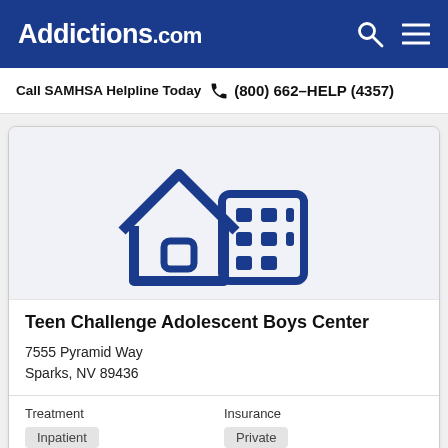Addictions.com
Call SAMHSA Helpline Today  (800) 662-HELP (4357)
[Figure (illustration): Icon of a house with a building/facility behind it, drawn in dark blue outline style on a light gray background, representing a residential treatment facility.]
Teen Challenge Adolescent Boys Center
7555 Pyramid Way
Sparks, NV 89436
Treatment
Inpatient
Insurance
Private